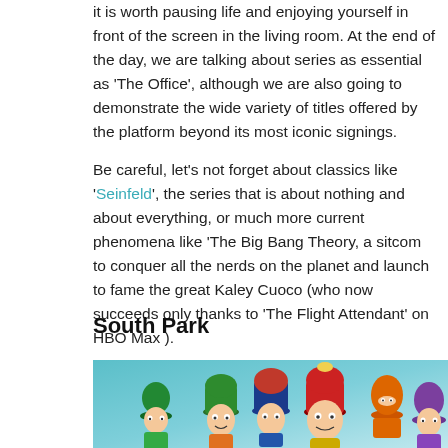it is worth pausing life and enjoying yourself in front of the screen in the living room. At the end of the day, we are talking about series as essential as 'The Office', although we are also going to demonstrate the wide variety of titles offered by the platform beyond its most iconic signings.
Be careful, let's not forget about classics like 'Seinfeld', the series that is about nothing and about everything, or much more current phenomena like 'The Big Bang Theory, a sitcom to conquer all the nerds on the planet and launch to fame the great Kaley Cuoco (who now succeeds only thanks to 'The Flight Attendant' on HBO Max ).
South Park
[Figure (photo): South Park animated characters - Kyle, Stan, Cartman, Kenny and others against a teal/blue-green background]